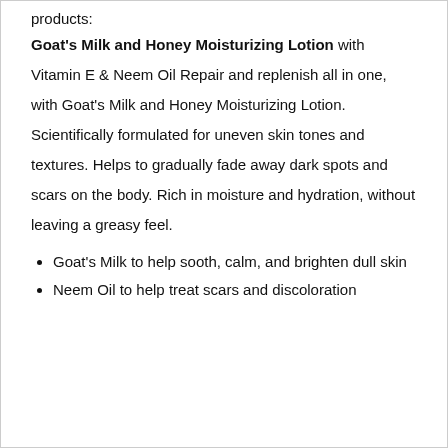products:
Goat's Milk and Honey Moisturizing Lotion with Vitamin E & Neem Oil Repair and replenish all in one, with Goat's Milk and Honey Moisturizing Lotion. Scientifically formulated for uneven skin tones and textures. Helps to gradually fade away dark spots and scars on the body. Rich in moisture and hydration, without leaving a greasy feel.
Goat's Milk to help sooth, calm, and brighten dull skin
Neem Oil to help treat scars and discoloration